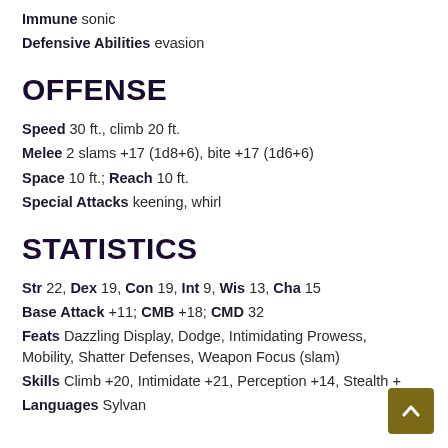Immune sonic
Defensive Abilities evasion
OFFENSE
Speed 30 ft., climb 20 ft.
Melee 2 slams +17 (1d8+6), bite +17 (1d6+6)
Space 10 ft.; Reach 10 ft.
Special Attacks keening, whirl
STATISTICS
Str 22, Dex 19, Con 19, Int 9, Wis 13, Cha 15
Base Attack +11; CMB +18; CMD 32
Feats Dazzling Display, Dodge, Intimidating Prowess, Mobility, Shatter Defenses, Weapon Focus (slam)
Skills Climb +20, Intimidate +21, Perception +14, Stealth +
Languages Sylvan